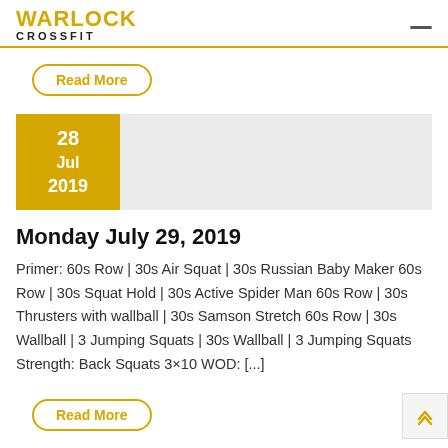WARLOCK CROSSFIT
Read More
28 Jul 2019
Monday July 29, 2019
Primer: 60s Row | 30s Air Squat | 30s Russian Baby Maker 60s Row | 30s Squat Hold | 30s Active Spider Man 60s Row | 30s Thrusters with wallball | 30s Samson Stretch 60s Row | 30s Wallball | 3 Jumping Squats | 30s Wallball | 3 Jumping Squats Strength: Back Squats 3×10 WOD: [...]
Read More